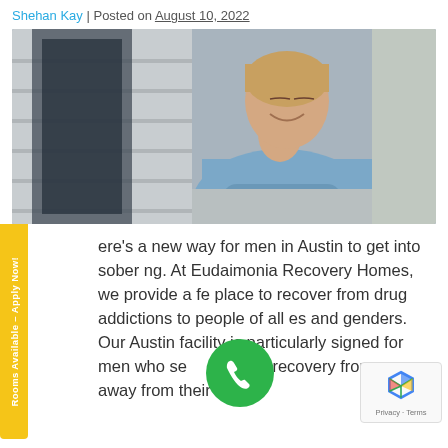Shehan Kay | Posted on August 10, 2022
[Figure (photo): Man in light blue shirt leaning against a wall with eyes closed, smiling, outdoors]
ere's a new way for men in Austin to get into sober ng. At Eudaimonia Recovery Homes, we provide a fe place to recover from drug addictions to people of all es and genders. Our Austin facility is particularly signed for men who se st recovery from a ace away from their ho